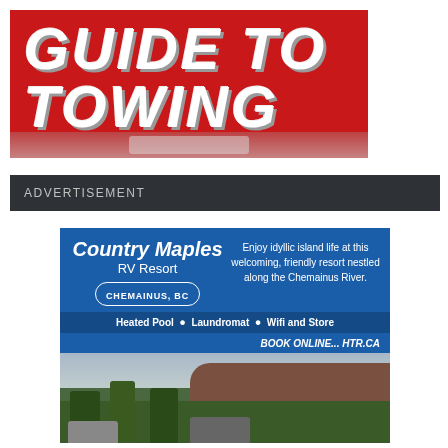[Figure (illustration): Guide to Towing banner with red background and large white italic bold text reading GUIDE TO TOWING, with a vehicle visible at the bottom.]
ADVERTISEMENT
[Figure (illustration): Country Maples RV Resort advertisement. Blue background with white text: Country Maples RV Resort, CHEMAINUS, BC. Right side: Enjoy idyllic island life at this welcoming, friendly resort nestled along the Chemainus River. Features: Heated Pool, Laundromat, Wifi and Store. BOOK ONLINE... HTR.CA. Bottom shows a photo of the RV resort with trees and RVs.]